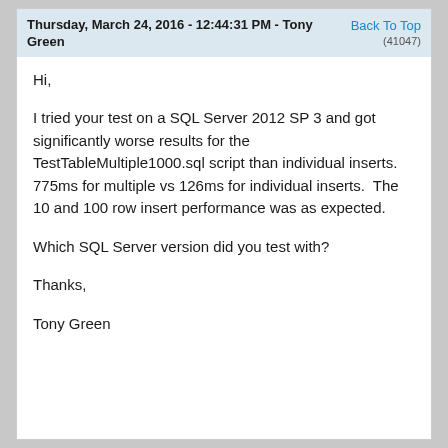Thursday, March 24, 2016 - 12:44:31 PM - Tony Green  Back To Top (41047)
Hi,

I tried your test on a SQL Server 2012 SP 3 and got significantly worse results for the TestTableMultiple1000.sql script than individual inserts.  775ms for multiple vs 126ms for individual inserts.  The 10 and 100 row insert performance was as expected.

Which SQL Server version did you test with?

Thanks,

Tony Green